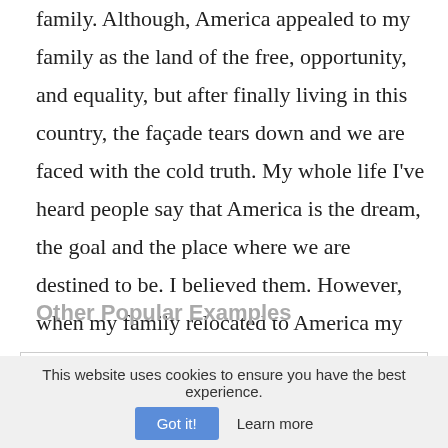family. Although, America appealed to my family as the land of the free, opportunity, and equality, but after finally living in this country, the façade tears down and we are faced with the cold truth. My whole life I've heard people say that America is the dream, the goal and the place where we are destined to be. I believed them. However, when my family relocated to America my perceptions about
Other Popular Examples
The Rise of Multicultural Empires: Greece and Rome - WGU C375 -
This website uses cookies to ensure you have the best experience.